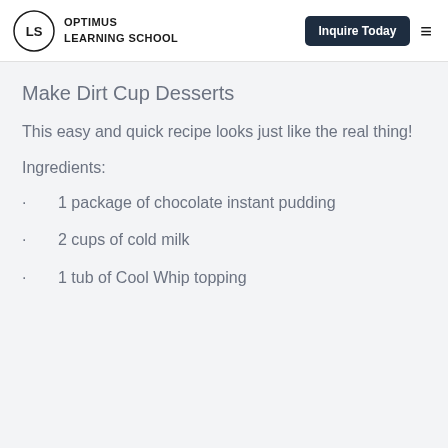OPTIMUS LEARNING SCHOOL | Inquire Today
Make Dirt Cup Desserts
This easy and quick recipe looks just like the real thing!
Ingredients:
1 package of chocolate instant pudding
2 cups of cold milk
1 tub of Cool Whip topping